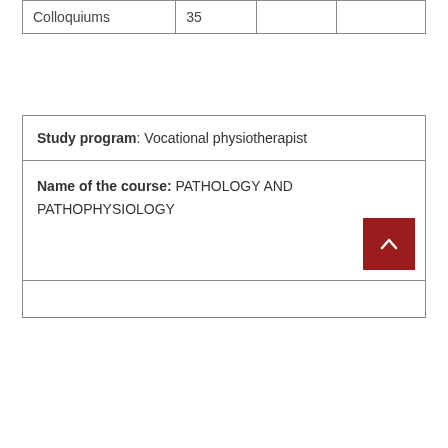| Colloquiums | 35 |  |  |
Study program: Vocational physiotherapist
Name of the course: PATHOLOGY AND PATHOPHYSIOLOGY
(partial row cut off at bottom)